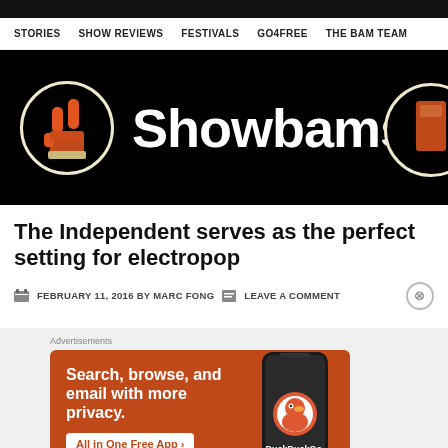STORIES  SHOW REVIEWS  FESTIVALS  GO4FREE  THE BAM TEAM
[Figure (logo): Showbams website banner with logo: orange rock-hand gesture in circle on left, large white 'Showbams' text in center, partial circle with icon on right, all on black background]
The Independent serves as the perfect setting for electropop
FEBRUARY 11, 2016 BY MARC FONG  LEAVE A COMMENT
[Figure (screenshot): DuckDuckGo advertisement banner: orange background with white text 'Search, browse, and email with more privacy. All in One Free App' with a smartphone mockup showing DuckDuckGo logo and app name]